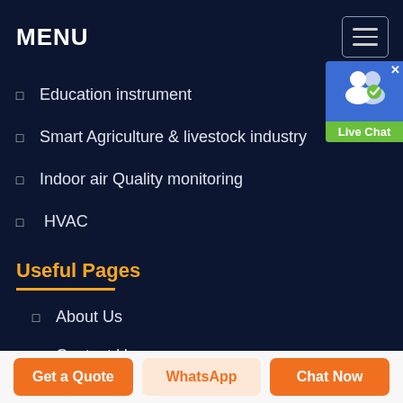MENU
Education instrument
Smart Agriculture & livestock industry
Indoor air Quality monitoring
HVAC
Useful Pages
About Us
Contact Us
Products
[Figure (illustration): Live Chat button with two person icons and green label]
Get a Quote
WhatsApp
Chat Now